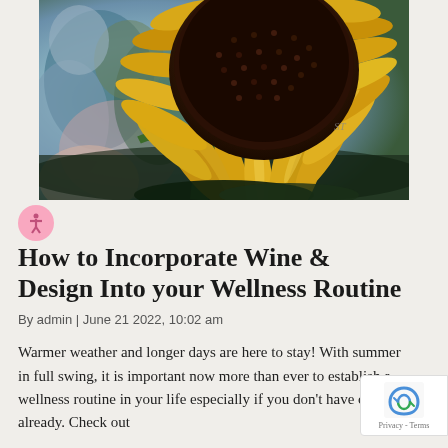[Figure (illustration): A colorful oil painting of a sunflower with yellow petals and a dark brown center, with a swirling colorful background reminiscent of van Gogh style.]
How to Incorporate Wine & Design Into your Wellness Routine
By admin | June 21 2022, 10:02 am
Warmer weather and longer days are here to stay! With summer in full swing, it is important now more than ever to establish a wellness routine in your life especially if you don't have one already. Check out